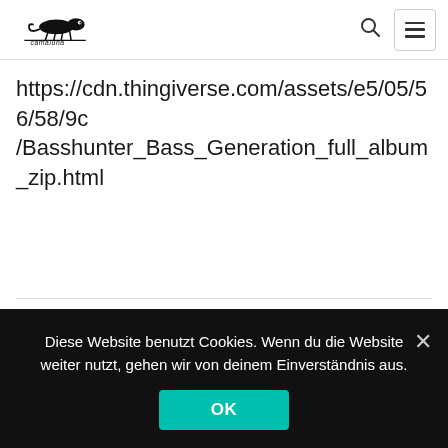camaluna
https://cdn.thingiverse.com/assets/e5/05/56/58/9c/Basshunter_Bass_Generation_full_album_zip.html
derfrid
15. Januar 2022 at 20:13
Diese Website benutzt Cookies. Wenn du die Website weiter nutzt, gehen wir von deinem Einverständnis aus.